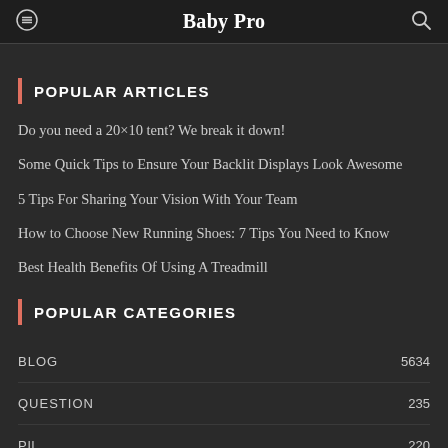Baby Pro
POPULAR ARTICLES
Do you need a 20×10 tent? We break it down!
Some Quick Tips to Ensure Your Backlit Displays Look Awesome
5 Tips For Sharing Your Vision With Your Team
How to Choose New Running Shoes: 7 Tips You Need to Know
Best Health Benefits Of Using A Treadmill
POPULAR CATEGORIES
| Category | Count |
| --- | --- |
| BLOG | 5634 |
| QUESTION | 235 |
| Pll | 220 |